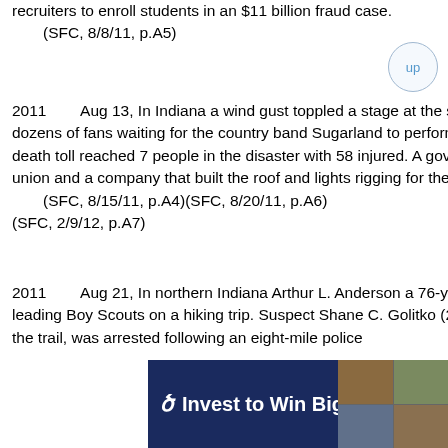recruiters to enroll students in an $11 billion fraud case.
    (SFC, 8/8/11, p.A5)
2011    Aug 13, In Indiana a wind gust toppled a stage at the state fair in Indianapolis killing 5 people and injuring dozens of fans waiting for the country band Sugarland to perform. A 6th person died of her injuries on Aug 19. The death toll reached 7 people in the disaster with 58 injured. A government in 2012 blamed fair officials, a stagehands union and a company that built the roof and lights rigging for the stage collapse.
    (SFC, 8/15/11, p.A4)(SFC, 8/20/11, p.A6)(SFC, 2/9/12, p.A7)
2011    Aug 21, In northern Indiana Arthur L. Anderson a 76-year-old Scout leader was stabbed to death while leading Boy Scouts on a hiking trip. Suspect Shane C. Golitko (22), who battered his mother and killed a dog near the trail, was arrested following an eight-mile police
[Figure (other): Advertisement banner: blue background with 'Invest to Win Big' text and decorative image tiles on the right, with play and close control buttons.]